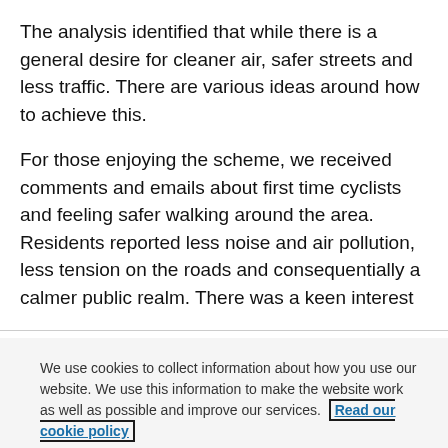The analysis identified that while there is a general desire for cleaner air, safer streets and less traffic. There are various ideas around how to achieve this.
For those enjoying the scheme, we received comments and emails about first time cyclists and feeling safer walking around the area. Residents reported less noise and air pollution, less tension on the roads and consequentially a calmer public realm. There was a keen interest
We use cookies to collect information about how you use our website. We use this information to make the website work as well as possible and improve our services. Read our cookie policy